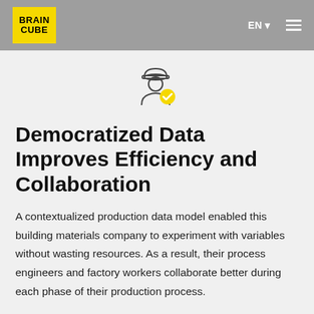[Figure (logo): BrainCube yellow square logo with white bold text BRAIN CUBE]
EN ▾  ≡
[Figure (illustration): Icon of a worker/engineer with a yellow verified checkmark badge]
Democratized Data Improves Efficiency and Collaboration
A contextualized production data model enabled this building materials company to experiment with variables without wasting resources. As a result, their process engineers and factory workers collaborate better during each phase of their production process.